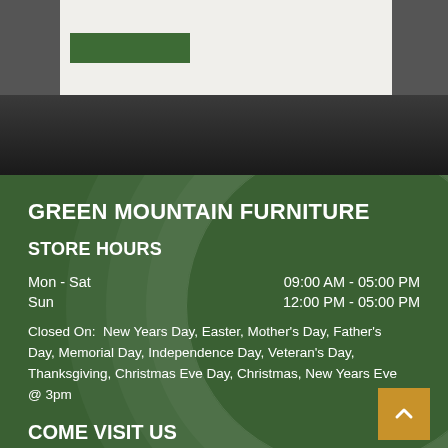[Figure (photo): Top section showing a white content box with a green button, over a dark textured background (asphalt/stone).]
GREEN MOUNTAIN FURNITURE
STORE HOURS
Mon - Sat     09:00 AM - 05:00 PM
Sun     12:00 PM - 05:00 PM
Closed On:  New Years Day, Easter, Mother's Day, Father's Day, Memorial Day, Independence Day, Veteran's Day, Thanksgiving, Christmas Eve Day, Christmas, New Years Eve @ 3pm
COME VISIT US